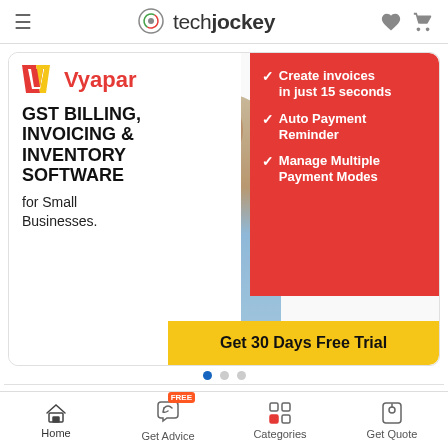techjockey
[Figure (screenshot): Vyapar app advertisement banner. Left side (white background): Vyapar logo with red/yellow V icon and red 'Vyapar' text. Bold black uppercase text: 'GST BILLING, INVOICING & INVENTORY SOFTWARE' followed by 'for Small Businesses.' Center: photo of man in light blue shirt holding smartphone showing Vyapar app. Right side (red background): white checkmark bullet points listing 'Create invoices in just 15 seconds', 'Auto Payment Reminder', 'Manage Multiple Payment Modes'. Bottom right yellow bar: 'Get 30 Days Free Trial']
Carousel dots: 3 dots, first active
All Products   Reviews   Buyer's Guide
Home   Get Advice   Categories   Get Quote